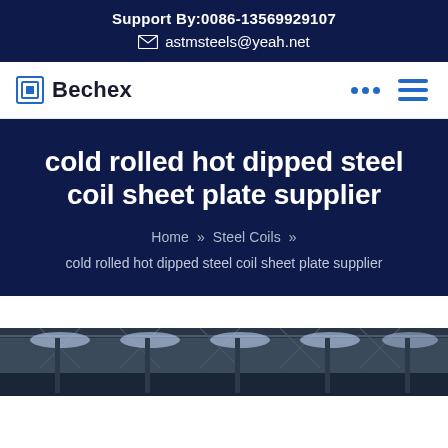Support By:0086-13569929107
astmsteels@yeah.net
Bechex
cold rolled hot dipped steel coil sheet plate supplier
Home » Steel Coils »
cold rolled hot dipped steel coil sheet plate supplier
[Figure (photo): Interior of a warehouse or industrial facility with metal roofing and steel structure beams lit from above]